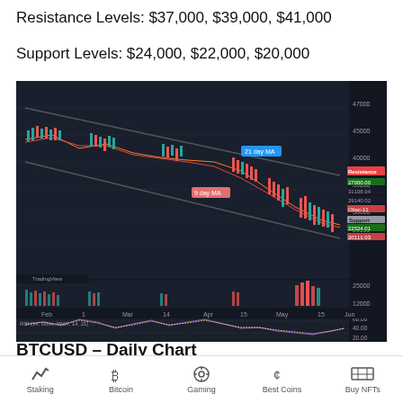Resistance Levels: $37,000, $39,000, $41,000
Support Levels: $24,000, $22,000, $20,000
[Figure (screenshot): BTCUSD Daily Chart from TradingView showing Bitcoin price action from Feb to June 2022 with descending channel, resistance and support levels marked, volume bars, and RSI indicator. Price shows decline from ~$47,000 to ~$27,000-$29,000 range.]
BTCUSD – Daily Chart
Buy Bitcoin Now
Staking | Bitcoin | Gaming | Best Coins | Buy NFTs